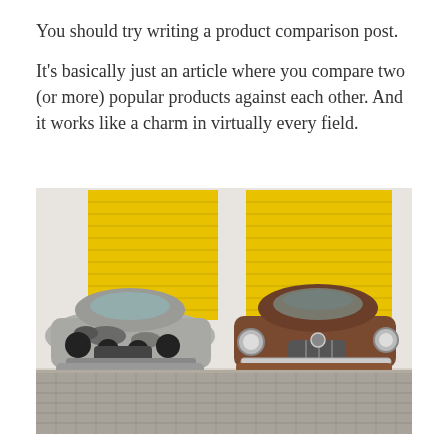You should try writing a product comparison post.
It's basically just an article where you compare two (or more) popular products against each other. And it works like a charm in virtually every field.
[Figure (photo): Two vintage/classic cars parked side by side in front of yellow garage roller doors against a white wall. The left car is silver-grey and heavily weathered/rusted, the right car is brown/rust-colored and in slightly better condition. Both cars face the viewer head-on. The ground is cobblestone pavement.]